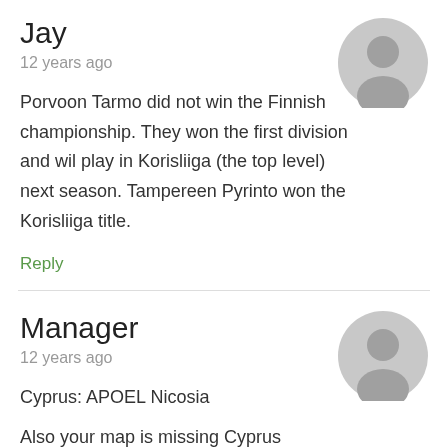Jay
12 years ago
Porvoon Tarmo did not win the Finnish championship. They won the first division and wil play in Korisliiga (the top level) next season. Tampereen Pyrinto won the Korisliiga title.
Reply
Manager
12 years ago
Cyprus: APOEL Nicosia
Also your map is missing Cyprus